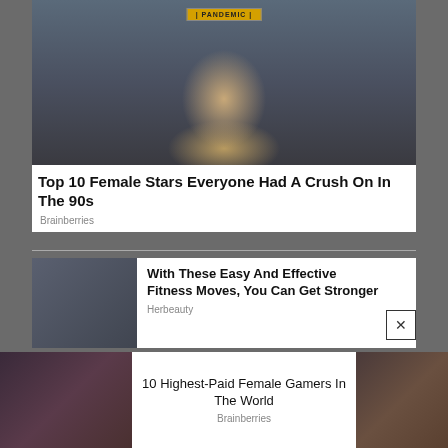[Figure (photo): A blonde woman with a superhero-style headpiece; 'PANDEMIC' badge overlay at top]
Top 10 Female Stars Everyone Had A Crush On In The 90s
Brainberries
[Figure (photo): Thumbnail image placeholder for fitness article]
With These Easy And Effective Fitness Moves, You Can Get Stronger
Herbeauty
[Figure (photo): Woman with dark hair and glasses on left side of bottom card]
10 Highest-Paid Female Gamers In The World
Brainberries
[Figure (photo): Woman with dark hair on right side of bottom card]